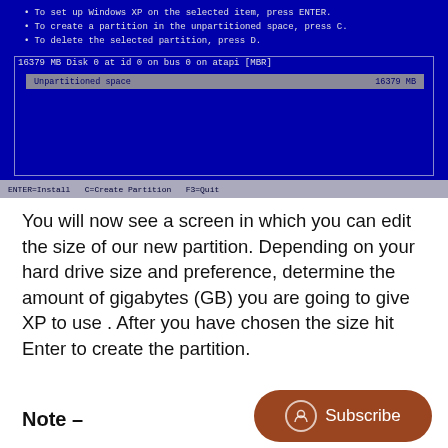[Figure (screenshot): Windows XP installation screen showing partition setup. Blue background with bullet points: 'To set up Windows XP on the selected item, press ENTER.', 'To create a partition in the unpartitioned space, press C.', 'To delete the selected partition, press D.' A disk box shows '16379 MB Disk 0 at id 0 on bus 0 on atapi [MBR]' with a highlighted bar showing 'Unpartitioned space 16379 MB'. Status bar shows 'ENTER=Install C=Create Partition F3=Quit'.]
You will now see a screen in which you can edit the size of our new partition. Depending on your hard drive size and preference, determine the amount of gigabytes (GB) you are going to give XP to use . After you have chosen the size hit Enter to create the partition.
Note –